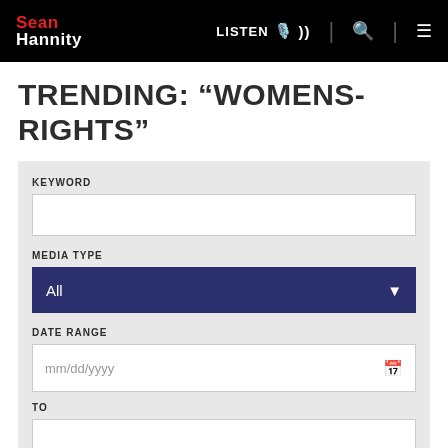Sean Hannity — LISTEN 🎙️ | 🔍 | ☰
TRENDING: “WOMENS-RIGHTS”
KEYWORD
MEDIA TYPE
All
DATE RANGE
mm/dd/yyyy
TO